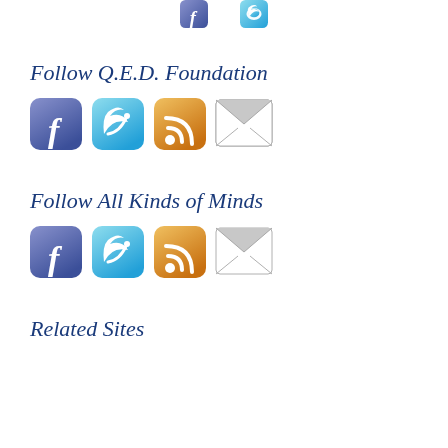[Figure (illustration): Partial view of social media icon buttons at the top of the page (cropped from above)]
Follow Q.E.D. Foundation
[Figure (illustration): Row of four social media icons: Facebook, Twitter, RSS, and Email/Mail for Q.E.D. Foundation]
Follow All Kinds of Minds
[Figure (illustration): Row of four social media icons: Facebook, Twitter, RSS, and Email/Mail for All Kinds of Minds]
Related Sites